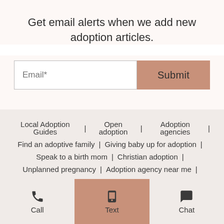Get email alerts when we add new adoption articles.
Email* [input field] Submit [button]
Local Adoption Guides | Open adoption | Adoption agencies | Find an adoptive family | Giving baby up for adoption | Speak to a birth mom | Christian adoption | Unplanned pregnancy | Adoption agency near me | Social media | Adoption profiles | Adoption process | Steps of adoption | How to adopt |
Call | Text | Chat